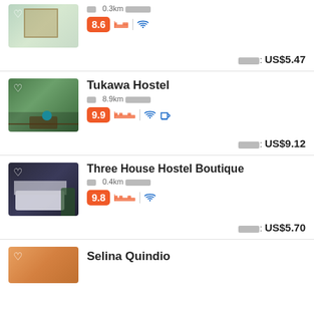[Figure (photo): Hostel room interior photo (partial card at top)]
0.3km ████
8.6 score badge, bed icon, wifi icon
█████:  US$5.47
[Figure (photo): Tukawa Hostel outdoor terrace photo with heart icon]
Tukawa Hostel
██  8.9km ████
9.9 score badge, bed icon, wifi icon, coffee icon
█████:  US$9.12
[Figure (photo): Three House Hostel Boutique lobby photo with heart icon]
Three House Hostel Boutique
██  0.4km ████
9.8 score badge, bed icon, wifi icon
█████:  US$5.70
[Figure (photo): Selina Quindio partial photo with heart icon]
Selina Quindio